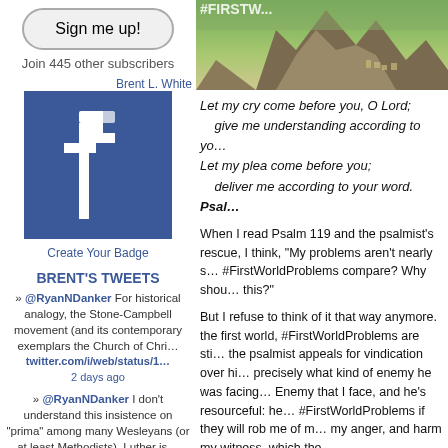Sign me up!
Join 445 other subscribers
Brent L. White
[Figure (logo): Facebook logo badge in blue]
Create Your Badge
BRENT'S TWEETS
» @RyanNDanker For historical analogy, the Stone-Campbell movement (and its contemporary exemplars the Church of Chri… twitter.com/i/web/status/1… 2 days ago
» @RyanNDanker I don't understand this insistence on "prima" among many Wesleyans (or at least Methodists). Luther is…
[Figure (photo): Rocky cliff landscape with town in background]
Let my cry come before you, O Lord;
    give me understanding according to your word.
Let my plea come before you;
    deliver me according to your word. Psalm
When I read Psalm 119 and the psalmist's rescue, I think, "My problems aren't nearly s… #FirstWorldProblems compare? Why shou… this?"
But I refuse to think of it that way anymore. the first world, #FirstWorldProblems are sti… the psalmist appeals for vindication over hi… precisely what kind of enemy he was facing… Enemy that I face, and he's resourceful: he… #FirstWorldProblems if they will rob me of m… my anger, and harm my witness, which the…
My point is, I need help. I need rescue. I ne… the author of this psalm. Yet I don't pray fo… urgency, or the same volume, that the psal…